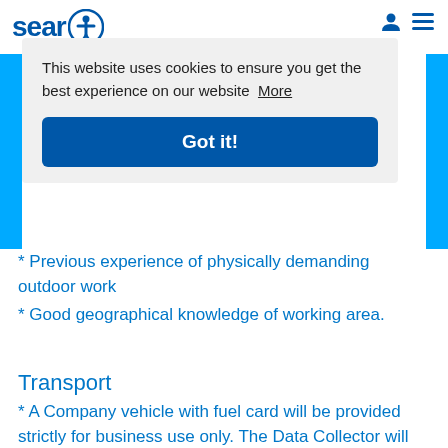sear [accessibility icon]
[Figure (screenshot): Cookie consent overlay with text: 'This website uses cookies to ensure you get the best experience on our website More' and a 'Got it!' button]
* Previous experience of physically demanding outdoor work
* Good geographical knowledge of working area.
Transport
* A Company vehicle with fuel card will be provided strictly for business use only. The Data Collector will be responsible for safe parking of